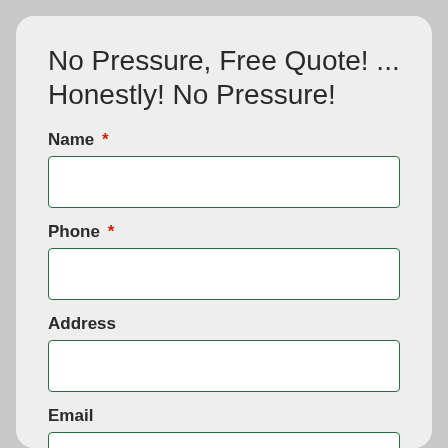No Pressure, Free Quote! ... Honestly! No Pressure!
Name *
Phone *
Address
Email